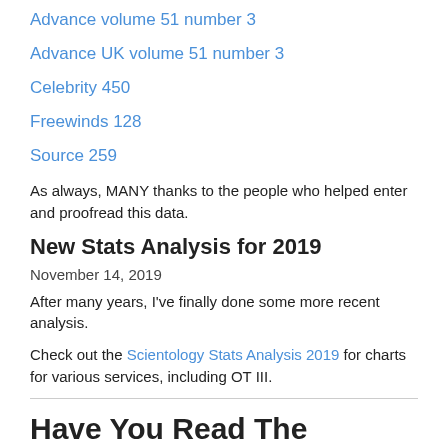Advance volume 51 number 3
Advance UK volume 51 number 3
Celebrity 450
Freewinds 128
Source 259
As always, MANY thanks to the people who helped enter and proofread this data.
New Stats Analysis for 2019
November 14, 2019
After many years, I've finally done some more recent analysis.
Check out the Scientology Stats Analysis 2019 for charts for various services, including OT III.
Have You Read The Aberree?
Interested in the early days of Scientology, Dianetics, Humanics, and Synergetics? Check out The Aberree, a